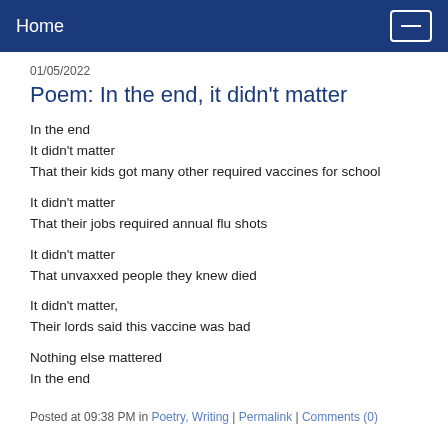Home
01/05/2022
Poem: In the end, it didn't matter
In the end
It didn't matter
That their kids got many other required vaccines for school
It didn't matter
That their jobs required annual flu shots
It didn't matter
That unvaxxed people they knew died
It didn't matter,
Their lords said this vaccine was bad
Nothing else mattered
In the end
Posted at 09:38 PM in Poetry, Writing | Permalink | Comments (0)